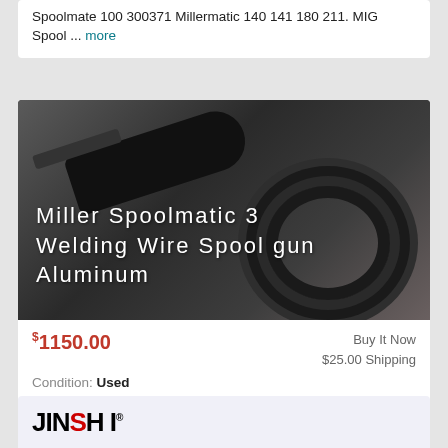Spoolmate 100 300371 Millermatic 140 141 180 211. MIG Spool ... more
[Figure (photo): Photo of a Miller Spoolmatic 3 welding wire spool gun with coiled cable, dark background. Overlaid text reads: Miller Spoolmatic 3 Welding Wire Spool gun Aluminum]
$1150.00
Buy It Now
$25.00 Shipping
Condition: Used
Location: Reno, United States
Tested and works. Any questions please be sure to ask before purchase.Thanks
[Figure (logo): JINSHI logo in bold black letters with red S, partial view at bottom of page]